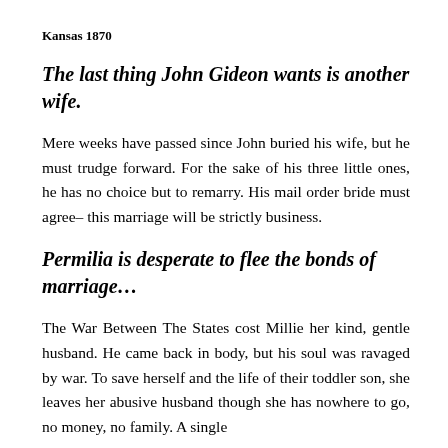Kansas 1870
The last thing John Gideon wants is another wife.
Mere weeks have passed since John buried his wife, but he must trudge forward. For the sake of his three little ones, he has no choice but to remarry. His mail order bride must agree– this marriage will be strictly business.
Permilia is desperate to flee the bonds of marriage…
The War Between The States cost Millie her kind, gentle husband. He came back in body, but his soul was ravaged by war. To save herself and the life of their toddler son, she leaves her abusive husband though she has nowhere to go, no money, no family. A single